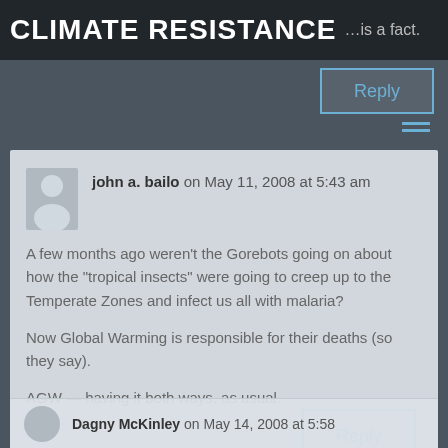CLIMATE RESISTANCE  …is a fact.
john a. bailo on May 11, 2008 at 5:43 am

A few months ago weren't the Gorebots going on about how the "tropical insects" were going to creep up to the Temperate Zones and infect us all with malaria?

Now Global Warming is responsible for their deaths (so they say).

AGW — having it both ways, as usual.
Dagny McKinley on May 14, 2008 at 5:58